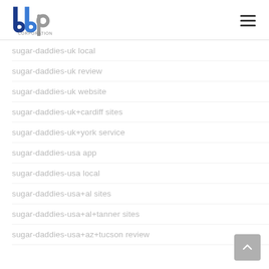bbp CORPORATION
sugar-daddies-uk local
sugar-daddies-uk review
sugar-daddies-uk website
sugar-daddies-uk+cardiff sites
sugar-daddies-uk+york service
sugar-daddies-usa app
sugar-daddies-usa local
sugar-daddies-usa+al sites
sugar-daddies-usa+al+tanner sites
sugar-daddies-usa+az+tucson review